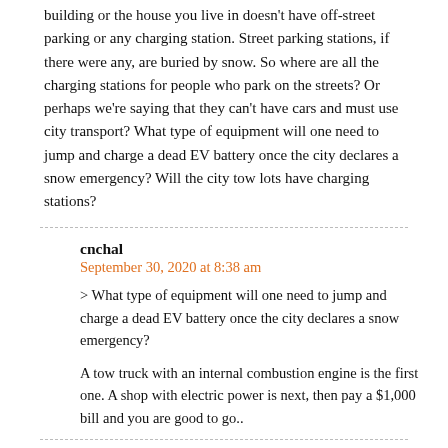building or the house you live in doesn't have off-street parking or any charging station. Street parking stations, if there were any, are buried by snow. So where are all the charging stations for people who park on the streets? Or perhaps we're saying that they can't have cars and must use city transport? What type of equipment will one need to jump and charge a dead EV battery once the city declares a snow emergency? Will the city tow lots have charging stations?
cnchal
September 30, 2020 at 8:38 am
> What type of equipment will one need to jump and charge a dead EV battery once the city declares a snow emergency?
A tow truck with an internal combustion engine is the first one. A shop with electric power is next, then pay a $1,000 bill and you are good to go..
Noone from Nowheresville
September 30, 2020 at 9:10 am
So in other words, no cars for those who can't afford 'em. I guess that goes together with bike lanes taking